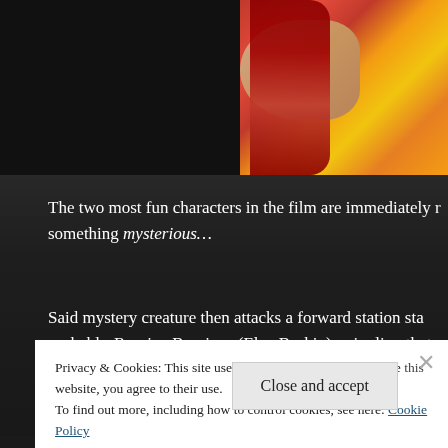[Figure (photo): Cropped photo showing red hair and colorful fabric (orange/yellow/pink) against a dark background]
The two most fun characters in the film are immediately r something mysterious...
Said mystery creature then attacks a forward station sta probably-Russian Burciaga (Elya Baskin), crippling that s McBride and the tragically underused but great Taurean M commander Capt. Laidlaw—although, now that I think ab
Privacy & Cookies: This site uses cookies. By continuing to use this website, you agree to their use.
To find out more, including how to control cookies, see here: Cookie Policy
Close and accept